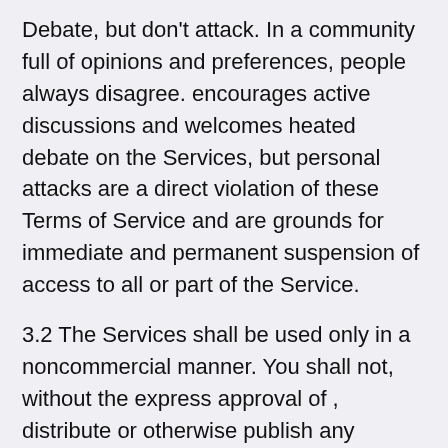Debate, but don't attack. In a community full of opinions and preferences, people always disagree. encourages active discussions and welcomes heated debate on the Services, but personal attacks are a direct violation of these Terms of Service and are grounds for immediate and permanent suspension of access to all or part of the Service.
3.2 The Services shall be used only in a noncommercial manner. You shall not, without the express approval of , distribute or otherwise publish any